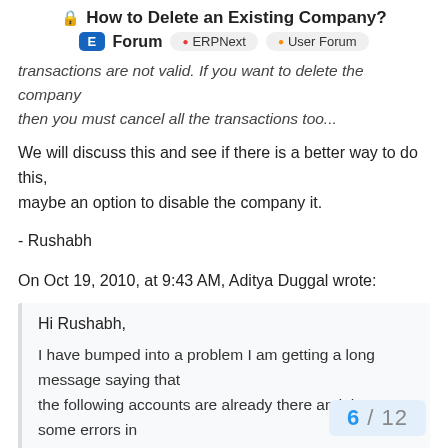🔒 How to Delete an Existing Company? | E Forum • ERPNext • User Forum
transactions are not valid. If you want to delete the company then you must cancel all the transactions too...
We will discuss this and see if there is a better way to do this, maybe an option to disable the company it.
- Rushabh
On Oct 19, 2010, at 9:43 AM, Aditya Duggal wrote:
Hi Rushabh,

I have bumped into a problem I am getting a long message saying that
the following accounts are already there and there are some errors in
the error console as follows:
6 / 12